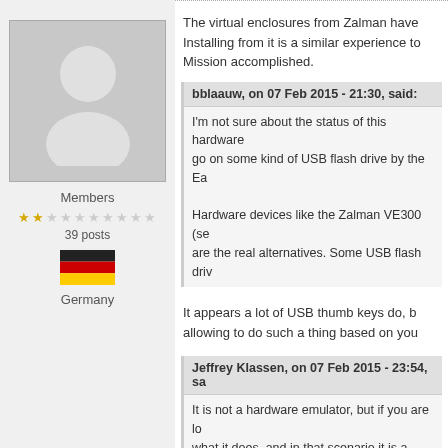[Figure (illustration): User avatar silhouette (default placeholder) with grey background]
Members
[Figure (other): 2-star rating out of 10 stars]
39 posts
[Figure (other): German flag icon]
Germany
The virtual enclosures from Zalman have... Installing from it is a similar experience to... Mission accomplished.
bblaauw, on 07 Feb 2015 - 21:30, said:
I'm not sure about the status of this hardware... go on some kind of USB flash drive by the Ea...
Hardware devices like the Zalman VE300 (se... are the real alternatives. Some USB flash driv...
It appears a lot of USB thumb keys do, b... allowing to do such a thing based on you...
Jeffrey Klassen, on 07 Feb 2015 - 23:54, sa...
It is not a hardware emulator, but if you are lo... what it does, and in that scenario it is a direct... usb key. It allows me to boot into a menu and... running a quick cmd file.